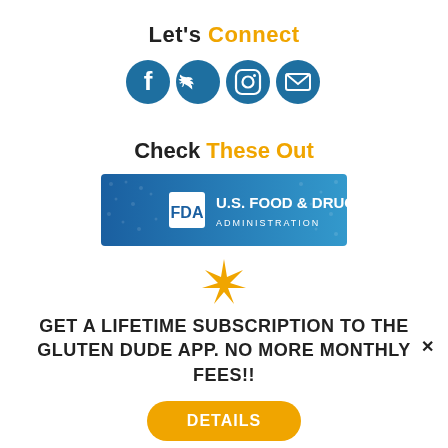Let's Connect
[Figure (infographic): Four social media icons: Facebook, Twitter, Instagram, Email (envelope), rendered in teal/dark blue]
Check These Out
[Figure (screenshot): FDA U.S. Food & Drug Administration banner image with blue background and FDA logo]
[Figure (illustration): Orange 8-pointed star/asterisk decorative divider]
GET A LIFETIME SUBSCRIPTION TO THE GLUTEN DUDE APP. NO MORE MONTHLY FEES!!
DETAILS